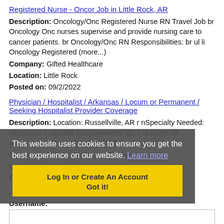Registered Nurse - Oncor Job in Little Rock, AR
Description: Oncology/Onc Registered Nurse RN Travel Job br Oncology Onc nurses supervise and provide nursing care to cancer patients. br Oncology/Onc RN Responsibilities: br ul li Oncology Registered (more...)
Company: Gifted Healthcare
Location: Little Rock
Posted on: 09/2/2022
Physician / Hospitalist / Arkansas / Locum or Permanent / Seeking Hospitalist Provider Coverage
Description: Location: Russellville, AR r nSpecialty Needed: Hospitalist r nBC/BE Requirements: BC r nLength Of Assignment: Ongoing r nFacility Type: Hospital r n r n
Company: Alliance Recruiting Resources
Location: Russellville
Posted ...
Loading more jobs.
This website uses cookies to ensure you get the best experience on our website. Learn more
Log In or Create An Account
Got it!
Username: